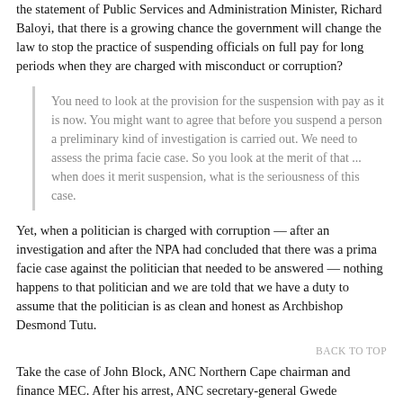the statement of Public Services and Administration Minister, Richard Baloyi, that there is a growing chance the government will change the law to stop the practice of suspending officials on full pay for long periods when they are charged with misconduct or corruption?
You need to look at the provision for the suspension with pay as it is now. You might want to agree that before you suspend a person a preliminary kind of investigation is carried out. We need to assess the prima facie case. So you look at the merit of that ... when does it merit suspension, what is the seriousness of this case.
Yet, when a politician is charged with corruption — after an investigation and after the NPA had concluded that there was a prima facie case against the politician that needed to be answered — nothing happens to that politician and we are told that we have a duty to assume that the politician is as clean and honest as Archbishop Desmond Tutu.
BACK TO TOP
Take the case of John Block, ANC Northern Cape chairman and finance MEC. After his arrest, ANC secretary-general Gwede